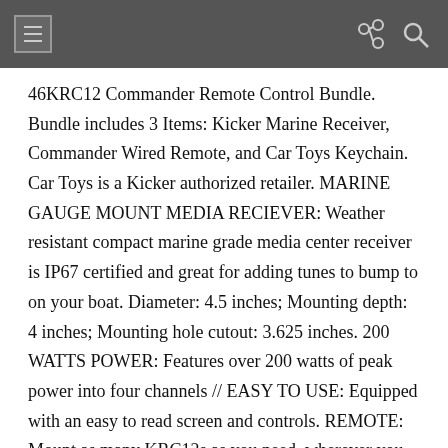Navigation bar with menu, share, and search icons
46KRC12 Commander Remote Control Bundle. Bundle includes 3 Items: Kicker Marine Receiver, Commander Wired Remote, and Car Toys Keychain. Car Toys is a Kicker authorized retailer. MARINE GAUGE MOUNT MEDIA RECIEVER: Weather resistant compact marine grade media center receiver is IP67 certified and great for adding tunes to bump to on your boat. Diameter: 4.5 inches; Mounting depth: 4 inches; Mounting hole cutout: 3.625 inches. 200 WATTS POWER: Features over 200 watts of peak power into four channels // EASY TO USE: Equipped with an easy to read screen and controls. REMOTE: Mount as many KRC12s as you need, wherever you need them. Car Toys (Authorized Retailer) Boat Party Bundle Includes. All hardware and instructions for your easy DIY installation. The Party Starts Here! Equipped with an easily readable screen, rotary encoder and over 200 watts of total peak power into four channels, the KMC2 comes equipped with plenty of power. Add even more bump to your boat by adding amplifiers to the included RCA